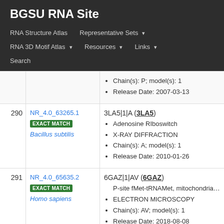BGSU RNA Site
RNA Structure Atlas | Representative Sets ▾ | RNA 3D Motif Atlas ▾ | Resources ▾ | Links ▾ | Search
| # | Equivalence Class | Members |
| --- | --- | --- |
|  |  | Chain(s): P; model(s): 1
Release Date: 2007-03-13 |
| 290 | NR_4.0_63265.1
EXACT MATCH
Bacillus subtilis | 3LA5|1|A (3LA5)
Adenosine RIboswitch
X-RAY DIFFRACTION
Chain(s): A; model(s): 1
Release Date: 2010-01-26 |
| 291 | NR_4.0_65635.2
EXACT MATCH
Homo sapiens | 6GAZ|1|AV (6GAZ)
P-site fMet-tRNAMet, mitochondrial, MT-(...)
ELECTRON MICROSCOPY
Chain(s): AV; model(s): 1
Release Date: 2018-08-08 |